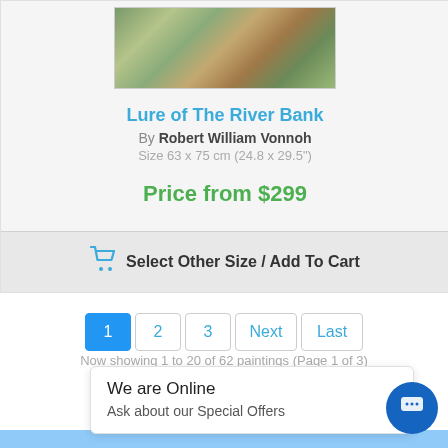[Figure (photo): Painting of a river bank scene with green foliage and warm earthy tones]
Lure of The River Bank
By Robert William Vonnoh
Size 63 x 75 cm (24.8 x 29.5")
Price from $299
Select Other Size / Add To Cart
1  2  3  Next  Last
Now showing 1 to 20 of 62 paintings (Page 1 of 3)
We are Online
Ask about our Special Offers